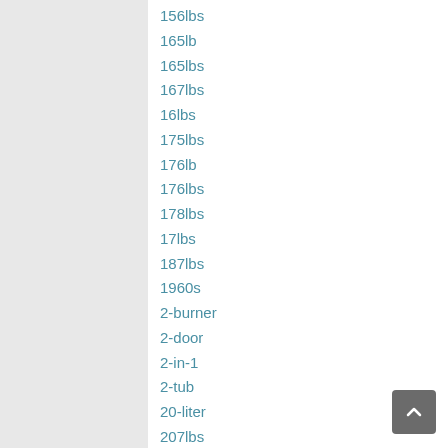156lbs
165lb
165lbs
167lbs
16lbs
175lbs
176lb
176lbs
178lbs
17lbs
187lbs
1960s
2-burner
2-door
2-in-1
2-tub
20-liter
207lbs
207lbsportable
20lb
20lbs